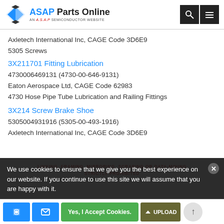ASAP Parts Online — AN A.S.A.P SEMICONDUCTOR WEBSITE
Axletech International Inc, CAGE Code 3D6E9
5305 Screws
3X211701 Fitting Lubrication
4730006469131 (4730-00-646-9131)
Eaton Aerospace Ltd, CAGE Code 62983
4730 Hose Pipe Tube Lubrication and Railing Fittings
3X214 Screw Brake Shoe
5305004931916 (5305-00-493-1916)
Axletech International Inc, CAGE Code 3D6E9
We use cookies to ensure that we give you the best experience on our website. If you continue to use this site we will assume that you are happy with it.